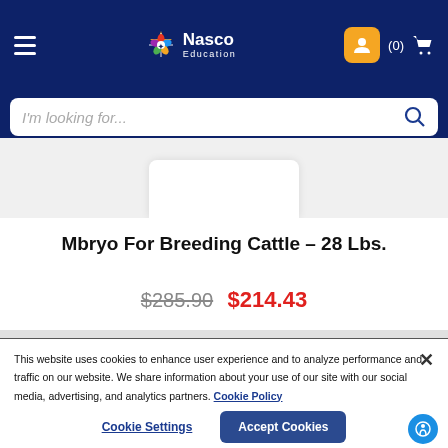[Figure (screenshot): Nasco Education website screenshot showing navigation bar with hamburger menu, Nasco Education logo, user icon, and cart. Search bar with 'I'm looking for...' placeholder. Product image area (white container). Product title 'Mbryo For Breeding Cattle – 28 Lbs.' with prices $285.90 (strikethrough) and $214.43 (red). Cookie consent banner at bottom.]
Mbryo For Breeding Cattle – 28 Lbs.
$285.90  $214.43
This website uses cookies to enhance user experience and to analyze performance and traffic on our website. We share information about your use of our site with our social media, advertising, and analytics partners. Cookie Policy